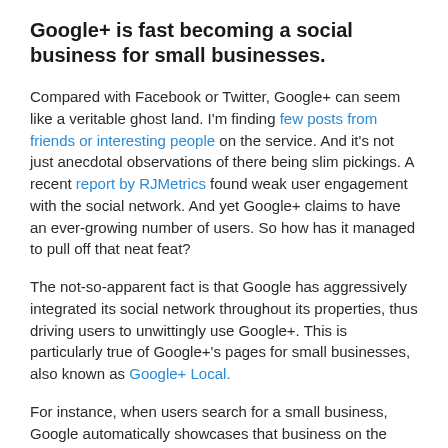Google+ is fast becoming a social business for small businesses.
Compared with Facebook or Twitter, Google+ can seem like a veritable ghost land. I'm finding few posts from friends or interesting people on the service. And it's not just anecdotal observations of there being slim pickings. A recent report by RJMetrics found weak user engagement with the social network. And yet Google+ claims to have an ever-growing number of users. So how has it managed to pull off that neat feat?
The not-so-apparent fact is that Google has aggressively integrated its social network throughout its properties, thus driving users to unwittingly use Google+. This is particularly true of Google+'s pages for small businesses, also known as Google+ Local.
For instance, when users search for a small business, Google automatically showcases that business on the right side of